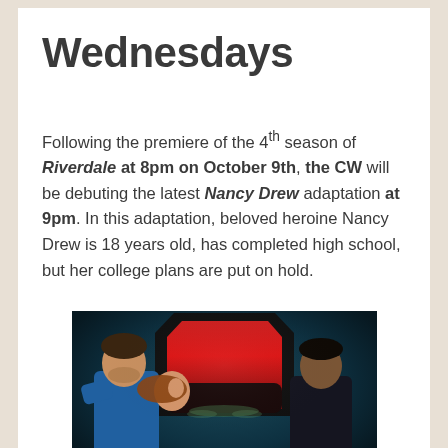Wednesdays
Following the premiere of the 4th season of Riverdale at 8pm on October 9th, the CW will be debuting the latest Nancy Drew adaptation at 9pm. In this adaptation, beloved heroine Nancy Drew is 18 years old, has completed high school, but her college plans are put on hold.
[Figure (photo): Promotional image for Nancy Drew TV show: three people around an open coffin with red interior against a dark teal background. A man in a blue shirt on the left, a woman lying inside the coffin in the center, and a man in dark clothing on the right.]